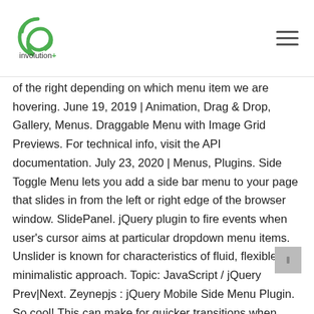involution+
of the right depending on which menu item we are hovering. June 19, 2019 | Animation, Drag & Drop, Gallery, Menus. Draggable Menu with Image Grid Previews. For technical info, visit the API documentation. July 23, 2020 | Menus, Plugins. Side Toggle Menu lets you add a side bar menu to your page that slides in from the left or right edge of the browser window. SlidePanel. jQuery plugin to fire events when user's cursor aims at particular dropdown menu items. Unslider is known for characteristics of fluid, flexible and minimalistic approach. Topic: JavaScript / jQuery Prev|Next. Zeynepjs : jQuery Mobile Side Menu Plugin. So cool! This can make for quicker transitions when navigating up and down the menu. Slide Down Box Menu with jQuery and CSS3 In this tutorial we will create a unique sliding box navigation. Tendina is a super easy-to-use jQuery plugin to rapidly build dropdown side menus. A